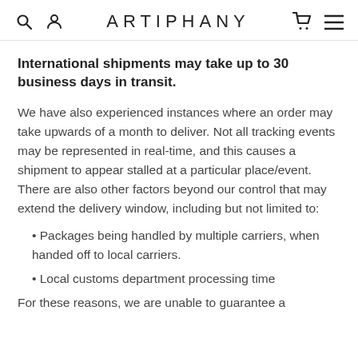ARTIPHANY
International shipments may take up to 30 business days in transit.
We have also experienced instances where an order may take upwards of a month to deliver. Not all tracking events may be represented in real-time, and this causes a shipment to appear stalled at a particular place/event. There are also other factors beyond our control that may extend the delivery window, including but not limited to:
Packages being handled by multiple carriers, when handed off to local carriers.
Local customs department processing time
For these reasons, we are unable to guarantee a